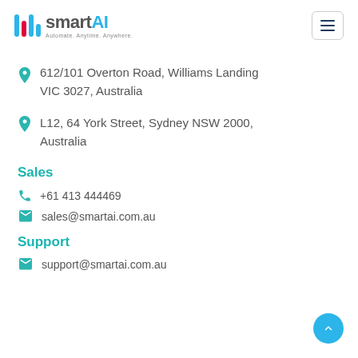[Figure (logo): smartAI logo with colorful vertical bars and text 'smartAI - Automate. Anytime. Anywhere.']
612/101 Overton Road, Williams Landing VIC 3027, Australia
L12, 64 York Street, Sydney NSW 2000, Australia
Sales
+61 413 444469
sales@smartai.com.au
Support
support@smartai.com.au